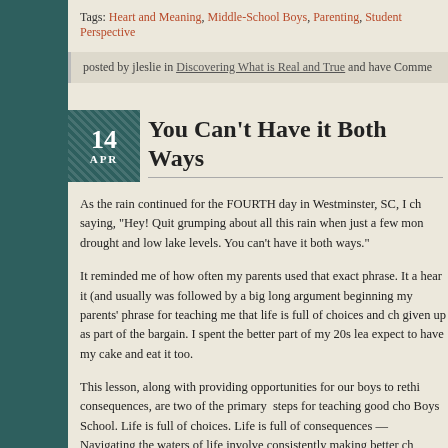Tags: Heart and Meaning, Middle-School Boys, Parenting, Student Perspective
posted by jleslie in Discovering What is Real and True and have Comme...
You Can't Have it Both Ways
As the rain continued for the FOURTH day in Westminster, SC, I ch... saying, "Hey! Quit grumping about all this rain when just a few mon... drought and low lake levels. You can't have it both ways."
It reminded me of how often my parents used that exact phrase. It a... hear it (and usually was followed by a big long argument beginning... my parents' phrase for teaching me that life is full of choices and ch... given up as part of the bargain. I spent the better part of my 20s lea... expect to have my cake and eat it too.
This lesson, along with providing opportunities for our boys to rethi... consequences, are two of the primary steps for teaching good cho... Boys School. Life is full of choices. Life is full of consequences — Navigating the waters of life involve consistently making better ch...